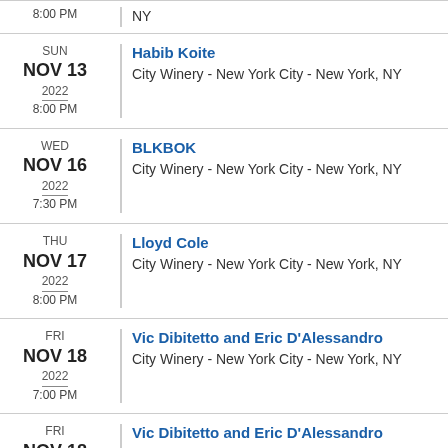8:00 PM | NY
SUN NOV 13 2022 8:00 PM | Habib Koite | City Winery - New York City - New York, NY
WED NOV 16 2022 7:30 PM | BLKBOK | City Winery - New York City - New York, NY
THU NOV 17 2022 8:00 PM | Lloyd Cole | City Winery - New York City - New York, NY
FRI NOV 18 2022 7:00 PM | Vic Dibitetto and Eric D'Alessandro | City Winery - New York City - New York, NY
FRI NOV 18 | Vic Dibitetto and Eric D'Alessandro